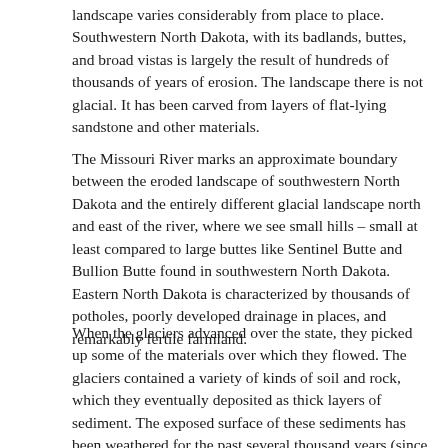landscape varies considerably from place to place. Southwestern North Dakota, with its badlands, buttes, and broad vistas is largely the result of hundreds of thousands of years of erosion. The landscape there is not glacial. It has been carved from layers of flat-lying sandstone and other materials.
The Missouri River marks an approximate boundary between the eroded landscape of southwestern North Dakota and the entirely different glacial landscape north and east of the river, where we see small hills – small at least compared to large buttes like Sentinel Butte and Bullion Butte found in southwestern North Dakota. Eastern North Dakota is characterized by thousands of potholes, poorly developed drainage in places, and remarkably fertile farmland.
When the glaciers advanced over the state, they picked up some of the materials over which they flowed. The glaciers contained a variety of kinds of soil and rock, which they eventually deposited as thick layers of sediment. The exposed surface of these sediments has been weathered for the past several thousand years (since the glaciers melted),